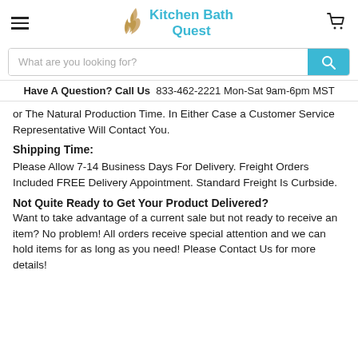Kitchen Bath Quest
What are you looking for?
Have A Question? Call Us  833-462-2221 Mon-Sat 9am-6pm MST
or The Natural Production Time. In Either Case a Customer Service Representative Will Contact You.
Shipping Time:
Please Allow 7-14 Business Days For Delivery. Freight Orders Included FREE Delivery Appointment. Standard Freight Is Curbside.
Not Quite Ready to Get Your Product Delivered?
Want to take advantage of a current sale but not ready to receive an item? No problem! All orders receive special attention and we can hold items for as long as you need! Please Contact Us for more details!